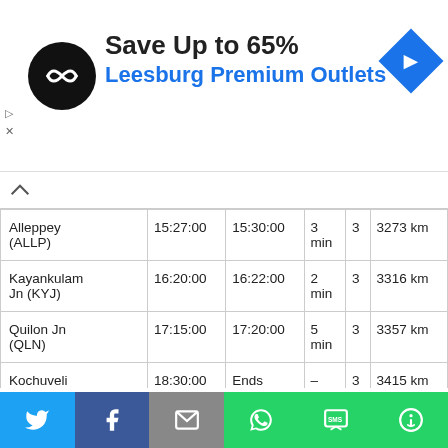[Figure (other): Advertisement banner: Save Up to 65% Leesburg Premium Outlets]
| Station | Arrival | Departure | Halt | Day | Distance |
| --- | --- | --- | --- | --- | --- |
| Alleppey (ALLP) | 15:27:00 | 15:30:00 | 3 min | 3 | 3273 km |
| Kayankulam Jn (KYJ) | 16:20:00 | 16:22:00 | 2 min | 3 | 3316 km |
| Quilon Jn (QLN) | 17:15:00 | 17:20:00 | 5 min | 3 | 3357 km |
| Kochuveli (KCVL) | 18:30:00 | Ends | – | 3 | 3415 km |
12217/12218 Kerala Sampark Kranti Superfast Express Coach Position Seat M…
[Figure (other): Bottom social share navigation bar with Twitter, Facebook, Email, WhatsApp, SMS, More buttons]